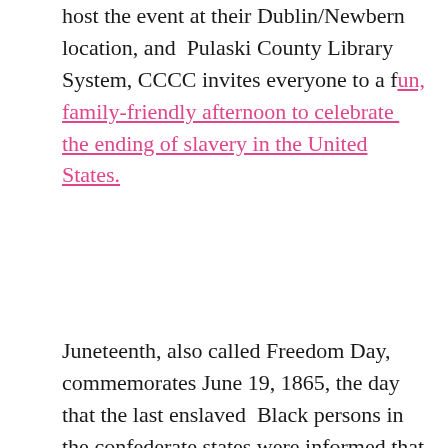host the event at their Dublin/Newbern location, and Pulaski County Library System, CCCC invites everyone to a fun, family-friendly afternoon to celebrate the ending of slavery in the United States.
Juneteenth, also called Freedom Day, commemorates June 19, 1865, the day that the last enslaved Black persons in the confederate states were informed that slavery had been abolished, legally making them American citizens. Juneteenth not only celebrates the freedom of African Americans from slavery, but is also a time of national and African American pride. People of all races, ethnicities, and backgrounds recognize the opportunity to come together in appreciation, reconciliation, and commemoration.